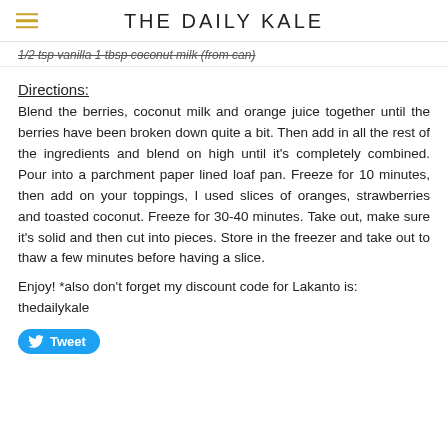THE DAILY KALE
1/2 tsp vanilla 1 tbsp coconut milk (from can)
Directions:
Blend the berries, coconut milk and orange juice together until the berries have been broken down quite a bit. Then add in all the rest of the ingredients and blend on high until it's completely combined. Pour into a parchment paper lined loaf pan. Freeze for 10 minutes, then add on your toppings, I used slices of oranges, strawberries and toasted coconut. Freeze for 30-40 minutes. Take out, make sure it's solid and then cut into pieces. Store in the freezer and take out to thaw a few minutes before having a slice.
Enjoy! *also don't forget my discount code for Lakanto is: thedailykale